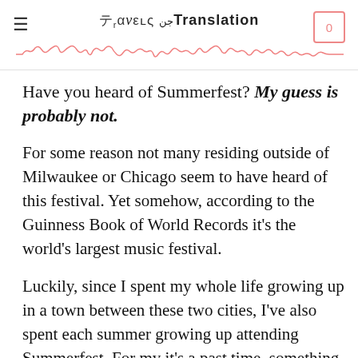Travels in Translation
Have you heard of Summerfest? My guess is probably not.
For some reason not many residing outside of Milwaukee or Chicago seem to have heard of this festival. Yet somehow, according to the Guinness Book of World Records it's the world's largest music festival.
Luckily, since I spent my whole life growing up in a town between these two cities, I've also spent each summer growing up attending Summerfest. For my it's a past time, something I have fond memories of